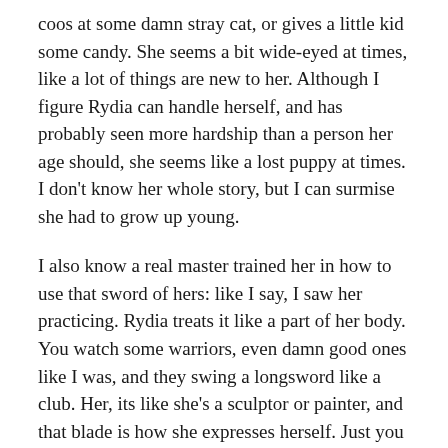coos at some damn stray cat, or gives a little kid some candy. She seems a bit wide-eyed at times, like a lot of things are new to her. Although I figure Rydia can handle herself, and has probably seen more hardship than a person her age should, she seems like a lost puppy at times. I don't know her whole story, but I can surmise she had to grow up young.
I also know a real master trained her in how to use that sword of hers: like I say, I saw her practicing. Rydia treats it like a part of her body. You watch some warriors, even damn good ones like I was, and they swing a longsword like a club. Her, its like she's a sculptor or painter, and that blade is how she expresses herself. Just you watch yourself, and avoid a quick and painful art lesson.